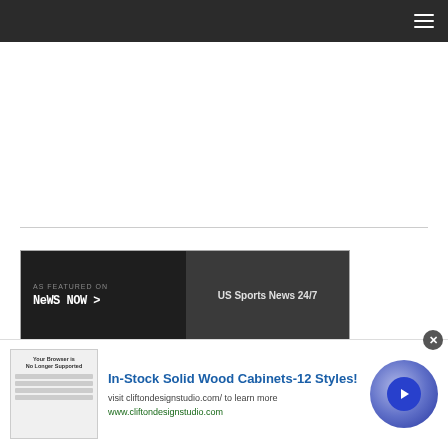Navigation bar with hamburger menu
[Figure (other): Advertisement banner area (blank white space)]
[Figure (other): As Featured On News Now banner with US Sports News 24/7 text]
RECENT POSTS
[Figure (other): Bottom advertisement overlay: In-Stock Solid Wood Cabinets-12 Styles! with browser image, text, and circular arrow button]